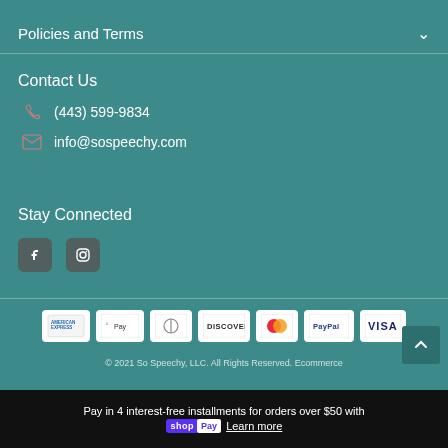Policies and Terms
Contact Us
(443) 599-9834
info@sospeechy.com
Stay Connected
[Figure (logo): Facebook and Instagram social media icons]
[Figure (logo): Payment method logos: American Express, Apple Pay, Diners Club, Discover, Mastercard, PayPal, Visa]
© 2021 So Speechy, LLC. All Rights Reserved. Ecommerce
Pay in 4 interest-free installments for orders over $50 with shop Pay Learn more